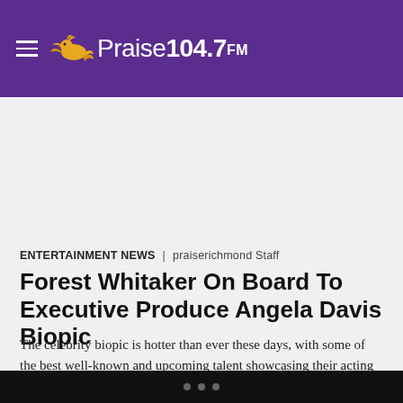Praise 104.7 FM
ENTERTAINMENT NEWS | praiserichmond Staff
Forest Whitaker On Board To Executive Produce Angela Davis Biopic
The celebrity biopic is hotter than ever these days, with some of the best well-known and upcoming talent showcasing their acting chops in films about legendary subjects. One of the most important and prolific African American figures is revolutionary activist Angela Davis, whose life has been the topic of a big screen